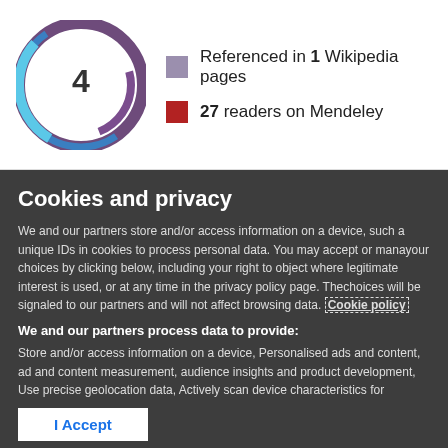[Figure (infographic): Altmetric donut chart showing score of 4 with colorful ring]
Referenced in 1 Wikipedia pages
27 readers on Mendeley
Cookies and privacy
We and our partners store and/or access information on a device, such as unique IDs in cookies to process personal data. You may accept or manage your choices by clicking below, including your right to object where legitimate interest is used, or at any time in the privacy policy page. These choices will be signaled to our partners and will not affect browsing data. Cookie policy
We and our partners process data to provide:
Store and/or access information on a device, Personalised ads and content, ad and content measurement, audience insights and product development, Use precise geolocation data, Actively scan device characteristics for identification
List of Partners (vendors)
I Accept